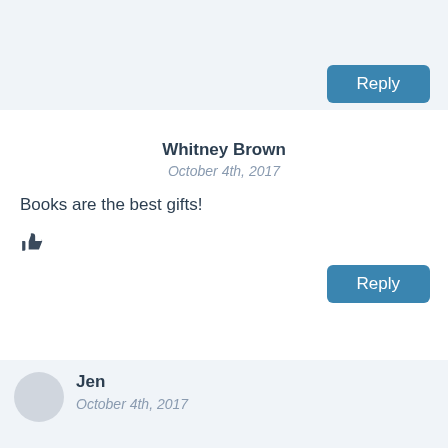[Figure (other): Thumbs up icon in top comment block]
Reply
Whitney Brown
October 4th, 2017
Books are the best gifts!
[Figure (other): Thumbs up icon in Whitney Brown comment]
Reply
Jen
October 4th, 2017